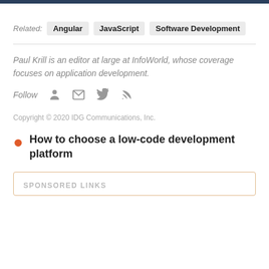Related: Angular  JavaScript  Software Development
Paul Krill is an editor at large at InfoWorld, whose coverage focuses on application development.
Follow [icons: person, email, twitter, rss]
Copyright © 2020 IDG Communications, Inc.
How to choose a low-code development platform
SPONSORED LINKS